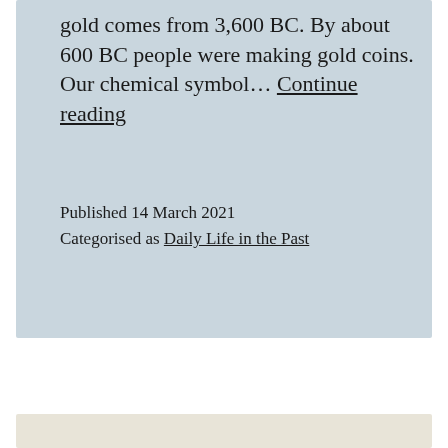gold comes from 3,600 BC. By about 600 BC people were making gold coins. Our chemical symbol… Continue reading
Published 14 March 2021
Categorised as Daily Life in the Past